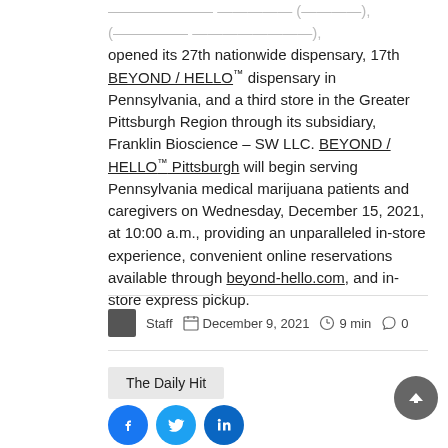opened its 27th nationwide dispensary, 17th BEYOND / HELLO™ dispensary in Pennsylvania, and a third store in the Greater Pittsburgh Region through its subsidiary, Franklin Bioscience – SW LLC. BEYOND / HELLO™ Pittsburgh will begin serving Pennsylvania medical marijuana patients and caregivers on Wednesday, December 15, 2021, at 10:00 a.m., providing an unparalleled in-store experience, convenient online reservations available through beyond-hello.com, and in-store express pickup.
Staff   December 9, 2021   9 min   0
The Daily Hit